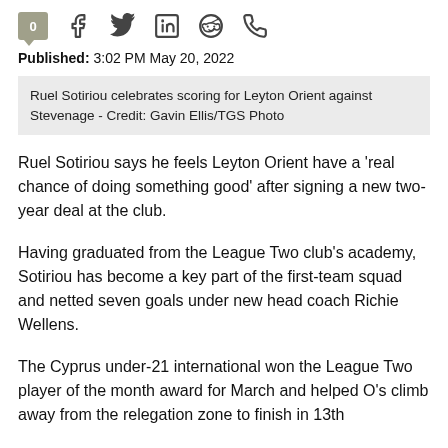0 [social icons: Facebook, Twitter, LinkedIn, Reddit, WhatsApp]
Published: 3:02 PM May 20, 2022
Ruel Sotiriou celebrates scoring for Leyton Orient against Stevenage - Credit: Gavin Ellis/TGS Photo
Ruel Sotiriou says he feels Leyton Orient have a 'real chance of doing something good' after signing a new two-year deal at the club.
Having graduated from the League Two club's academy, Sotiriou has become a key part of the first-team squad and netted seven goals under new head coach Richie Wellens.
The Cyprus under-21 international won the League Two player of the month award for March and helped O's climb away from the relegation zone to finish in 13th